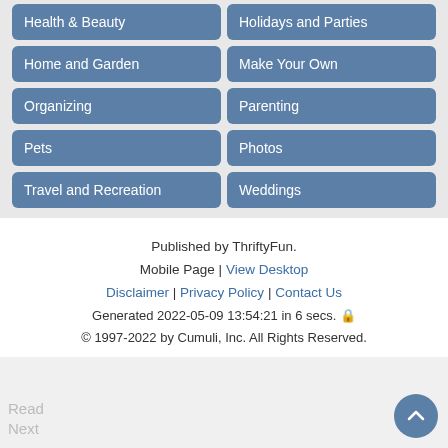Health & Beauty
Holidays and Parties
Home and Garden
Make Your Own
Organizing
Parenting
Pets
Photos
Travel and Recreation
Weddings
Published by ThriftyFun.
Mobile Page | View Desktop
Disclaimer | Privacy Policy | Contact Us
Generated 2022-05-09 13:54:21 in 6 secs. 🔒
© 1997-2022 by Cumuli, Inc. All Rights Reserved.